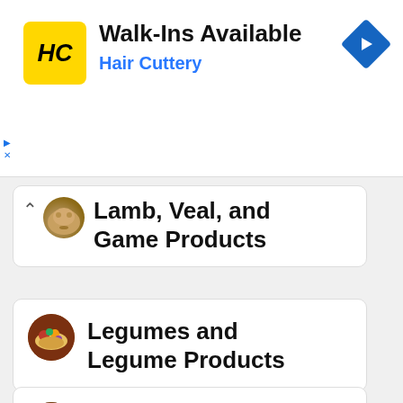[Figure (screenshot): Hair Cuttery advertisement banner with yellow HC logo, text 'Walk-Ins Available' and 'Hair Cuttery', and a blue navigation arrow icon. Small play and close ad controls visible at left.]
Lamb, Veal, and Game Products
Legumes and Legume Products
Meals, Entrees, and Side Dishes